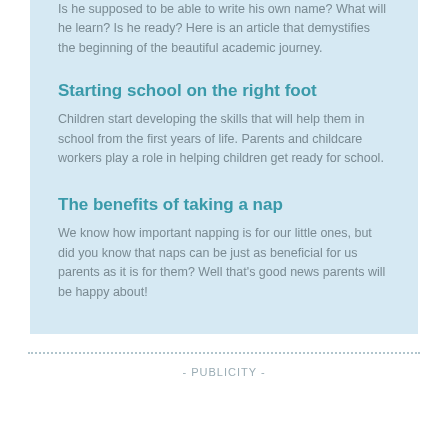Is he supposed to be able to write his own name? What will he learn? Is he ready? Here is an article that demystifies the beginning of the beautiful academic journey.
Starting school on the right foot
Children start developing the skills that will help them in school from the first years of life. Parents and childcare workers play a role in helping children get ready for school.
The benefits of taking a nap
We know how important napping is for our little ones, but did you know that naps can be just as beneficial for us parents as it is for them? Well that's good news parents will be happy about!
- PUBLICITY -